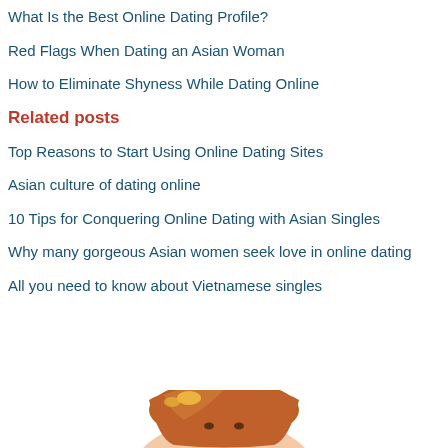What Is the Best Online Dating Profile?
Red Flags When Dating an Asian Woman
How to Eliminate Shyness While Dating Online
Related posts
Top Reasons to Start Using Online Dating Sites
Asian culture of dating online
10 Tips for Conquering Online Dating with Asian Singles
Why many gorgeous Asian women seek love in online dating
All you need to know about Vietnamese singles
[Figure (photo): Partial photo of a young Asian woman with long reddish-brown hair, visible from top of head, cropped at bottom of page]